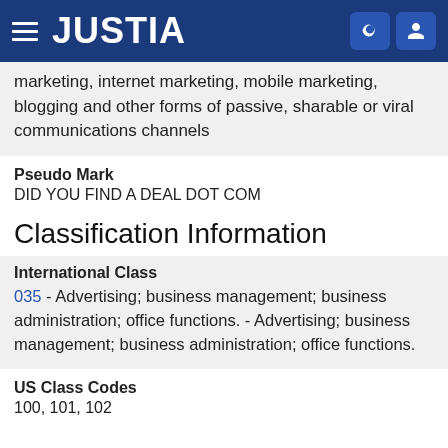JUSTIA
marketing, internet marketing, mobile marketing, blogging and other forms of passive, sharable or viral communications channels
Pseudo Mark
DID YOU FIND A DEAL DOT COM
Classification Information
International Class
035 - Advertising; business management; business administration; office functions. - Advertising; business management; business administration; office functions.
US Class Codes
100, 101, 102